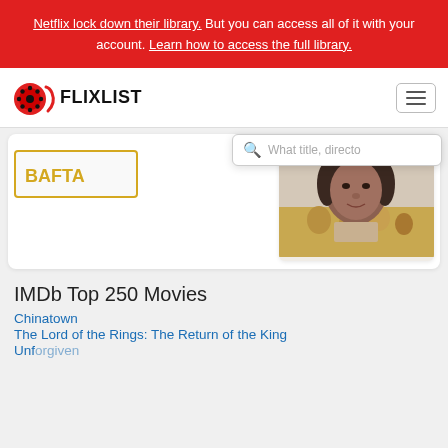Netflix lock down their library. But you can access all of it with your account. Learn how to access the full library.
[Figure (logo): FlixList logo with film reel icon and FLIX LIST text]
[Figure (screenshot): Movie card with image of a woman, partial card content visible]
What title, directo (search bar placeholder)
IMDb Top 250 Movies
Chinatown
The Lord of the Rings: The Return of the King
Unforgiven (partial)